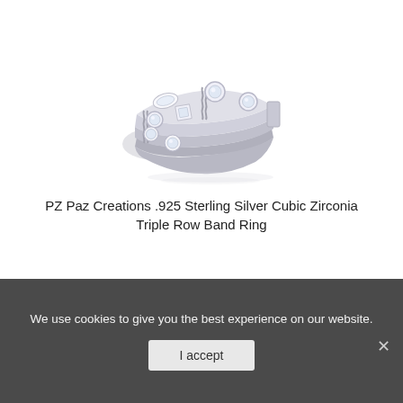[Figure (photo): A sterling silver cubic zirconia triple row band ring with multiple round, marquise, and square-cut stones set in bezel and rope-twist settings, photographed on white background with reflection.]
PZ Paz Creations .925 Sterling Silver Cubic Zirconia Triple Row Band Ring
We use cookies to give you the best experience on our website.
I accept